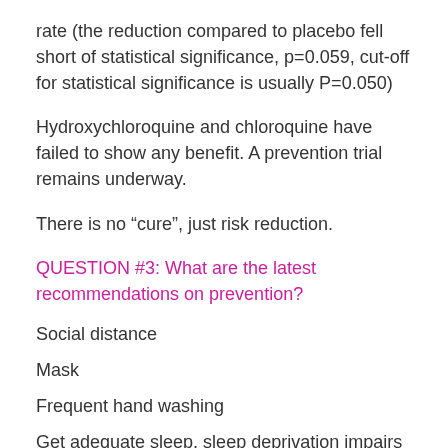rate (the reduction compared to placebo fell short of statistical significance, p=0.059, cut-off for statistical significance is usually P=0.050)
Hydroxychloroquine and chloroquine have failed to show any benefit. A prevention trial remains underway.
There is no “cure”, just risk reduction.
QUESTION #3: What are the latest recommendations on prevention?
Social distance
Mask
Frequent hand washing
Get adequate sleep, sleep deprivation impairs immunity